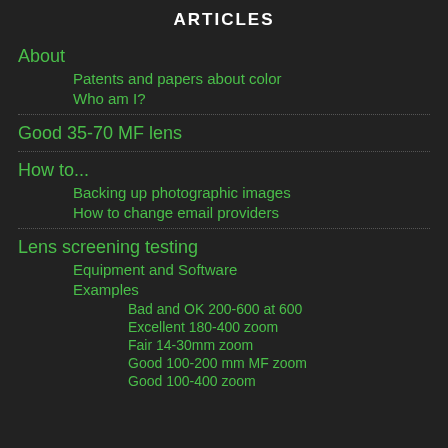ARTICLES
About
Patents and papers about color
Who am I?
Good 35-70 MF lens
How to...
Backing up photographic images
How to change email providers
Lens screening testing
Equipment and Software
Examples
Bad and OK 200-600 at 600
Excellent 180-400 zoom
Fair 14-30mm zoom
Good 100-200 mm MF zoom
Good 100-400 zoom